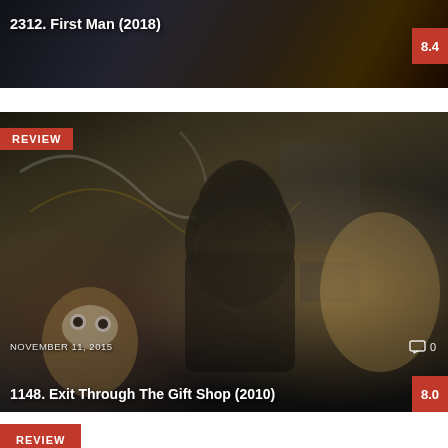[Figure (photo): Movie card for '2312. First Man (2018)' with dark space-themed background, rating 8.4 in red box top-right, white title text bottom-left]
2312. First Man (2018)
[Figure (photo): Movie review card for '1148. Exit Through The Gift Shop (2010)' with graffiti-covered room background, hooded figure, REVIEW badge, date November 11 2015, 0 comments, rating 8.0]
1148. Exit Through The Gift Shop (2010)
NOVEMBER 11, 2015
[Figure (photo): Partial movie card at bottom with red REVIEW badge visible]